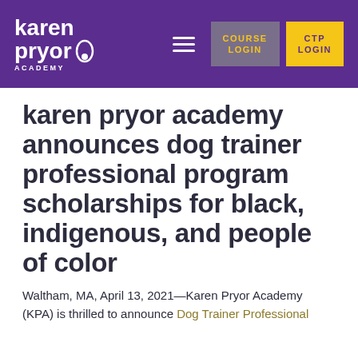karen pryor academy — COURSE LOGIN | CTP LOGIN
karen pryor academy announces dog trainer professional program scholarships for black, indigenous, and people of color
Waltham, MA, April 13, 2021—Karen Pryor Academy (KPA) is thrilled to announce Dog Trainer Professional